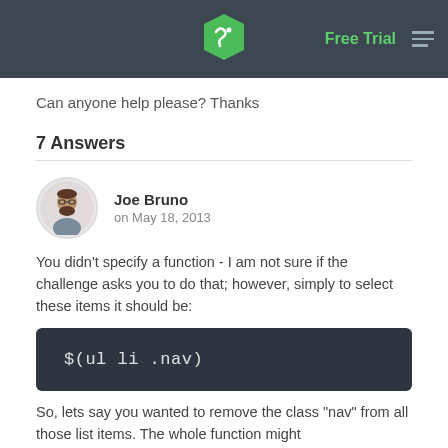Free Trial
Can anyone help please? Thanks
7 Answers
Joe Bruno
on May 18, 2013
You didn't specify a function - I am not sure if the challenge asks you to do that; however, simply to select these items it should be:
So, lets say you wanted to remove the class "nav" from all those list items. The whole function might